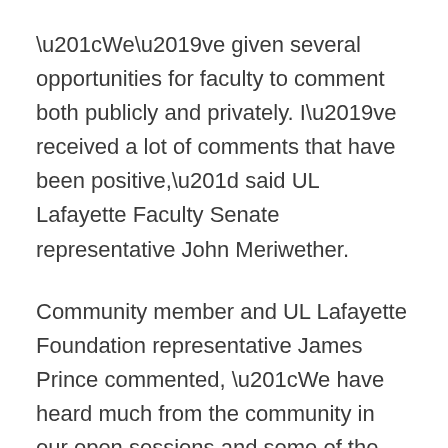“We’ve given several opportunities for faculty to comment both publicly and privately. I’ve received a lot of comments that have been positive,” said UL Lafayette Faculty Senate representative John Meriwether.
Community member and UL Lafayette Foundation representative James Prince commented, “We have heard much from the community in our open sessions and some of the characteristics that they asked for are definitely in the five finalists.”
“We heard most of our local community’s cry, as